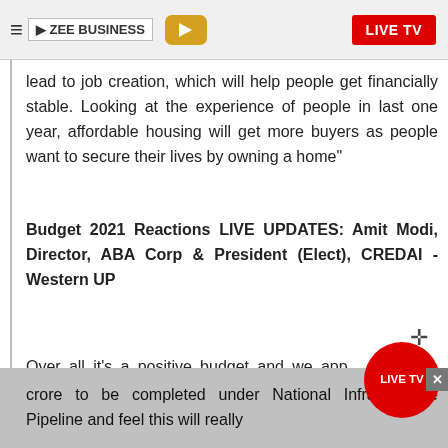ZEE BUSINESS | LIVE TV
lead to job creation, which will help people get financially stable. Looking at the experience of people in last one year, affordable housing will get more buyers as people want to secure their lives by owning a home"
Budget 2021 Reactions LIVE UPDATES: Amit Modi, Director, ABA Corp & President (Elect), CREDAI - Western UP
Over all it's a positive budget and we app the huge push towards national infrastructure, with nearly 217 projects worth over Rs 1 lakh crore to be completed under National Infrastructure Pipeline and feel this will really